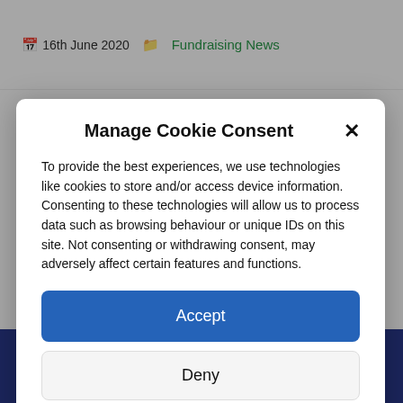16th June 2020  Fundraising News
Manage Cookie Consent
To provide the best experiences, we use technologies like cookies to store and/or access device information. Consenting to these technologies will allow us to process data such as browsing behaviour or unique IDs on this site. Not consenting or withdrawing consent, may adversely affect certain features and functions.
Accept
Deny
View preferences
Cookie Policy   Privacy & Cookie Policy, Terms of Use